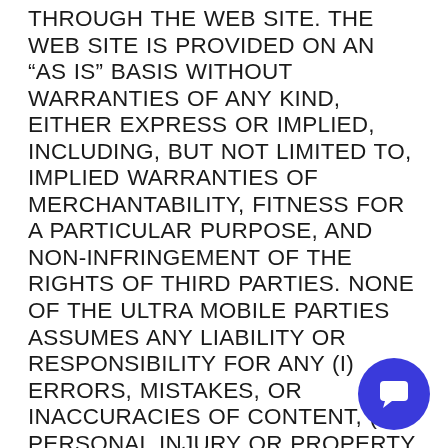THROUGH THE WEB SITE. THE WEB SITE IS PROVIDED ON AN “AS IS” BASIS WITHOUT WARRANTIES OF ANY KIND, EITHER EXPRESS OR IMPLIED, INCLUDING, BUT NOT LIMITED TO, IMPLIED WARRANTIES OF MERCHANTABILITY, FITNESS FOR A PARTICULAR PURPOSE, AND NON-INFRINGEMENT OF THE RIGHTS OF THIRD PARTIES. NONE OF THE ULTRA MOBILE PARTIES ASSUMES ANY LIABILITY OR RESPONSIBILITY FOR ANY (I) ERRORS, MISTAKES, OR INACCURACIES OF CONTENT, (II) PERSONAL INJURY OR PROPERTY DAMAGE, OF ANY NATURE WHATSOEVER, RESULTING DIRECTLY OR INDIRECTLY FROM YOUR ACCESS TO AND USE OF THE WEB SITE, (III) ANY
[Figure (other): Chat support button icon — blue circle with white speech bubble icon in bottom-right corner]